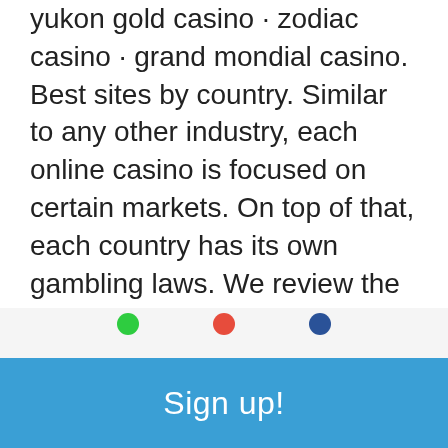yukon gold casino · zodiac casino · grand mondial casino. Best sites by country. Similar to any other industry, each online casino is focused on certain markets. On top of that, each country has its own gambling laws. We review the best online blackjack sites in 2022 ✓ expert guide to live blackjack in the uk ✓ blackjack strategies and variations explained. The best online blackjack casinos reviewed and ranked. Blackjack is arguably the most popular card game online. Every operator provides this. Looking for the best online blackjack sites uk? here at the top blackjack sites, we only suggest the very best new blackjack casinos for you Top online blackjack sites for 18+ players ; 3, cafe casino, 500% max $5,000, play now full review ; 4, super slots casino, 250% max $6,000, play now full review. Browse below
Sign up!